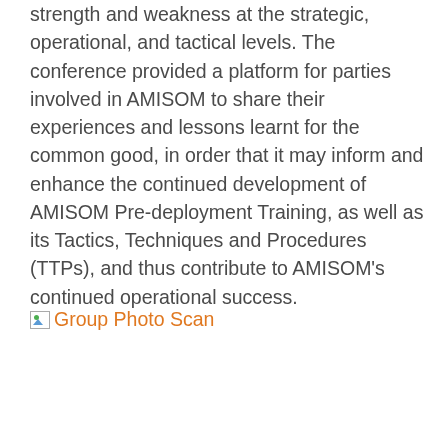strength and weakness at the strategic, operational, and tactical levels. The conference provided a platform for parties involved in AMISOM to share their experiences and lessons learnt for the common good, in order that it may inform and enhance the continued development of AMISOM Pre-deployment Training, as well as its Tactics, Techniques and Procedures (TTPs), and thus contribute to AMISOM's continued operational success.
[Figure (photo): Broken image placeholder labeled 'Group Photo Scan']